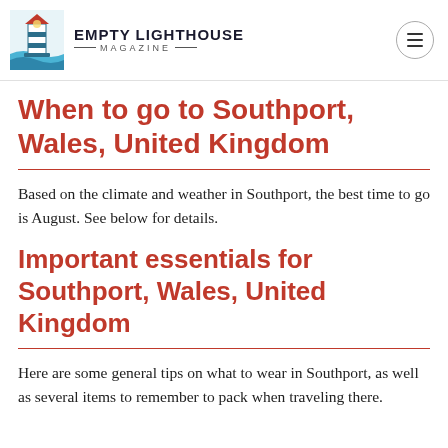EMPTY LIGHTHOUSE MAGAZINE
When to go to Southport, Wales, United Kingdom
Based on the climate and weather in Southport, the best time to go is August. See below for details.
Important essentials for Southport, Wales, United Kingdom
Here are some general tips on what to wear in Southport, as well as several items to remember to pack when traveling there.